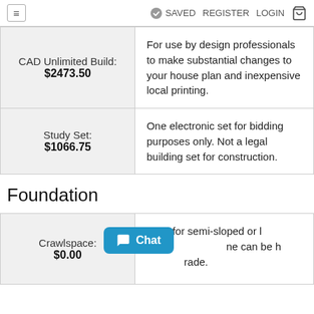≡  ✓ SAVED  REGISTER  LOGIN  🛒
| Product | Description |
| --- | --- |
| CAD Unlimited Build: $2473.50 | For use by design professionals to make substantial changes to your house plan and inexpensive local printing. |
| Study Set: $1066.75 | One electronic set for bidding purposes only. Not a legal building set for construction. |
Foundation
| Product | Description |
| --- | --- |
| Crawlspace: $0.00 | Ideal for semi-sloped or level sites and can be h...rade. |